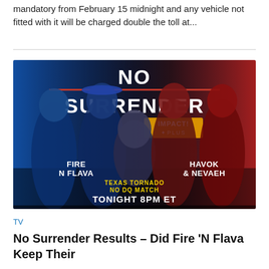mandatory from February 15 midnight and any vehicle not fitted with it will be charged double the toll at...
[Figure (photo): Promotional image for IMPACT Wrestling No Surrender event featuring Fire N Flava vs Havok & Nevaeh in a Texas Tornado No DQ Match for the Knockouts Tag Team Championships, Tonight 8PM ET on IMPACT Plus]
TV
No Surrender Results – Did Fire 'N Flava Keep Their